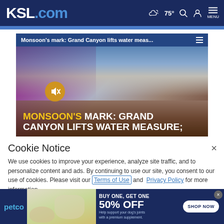KSL.com — 75° MENU
[Figure (screenshot): KSL.com news website screenshot showing a video thumbnail of Grand Canyon monsoon story with overlay text 'MONSOON'S MARK: GRAND CANYON LIFTS WATER MEASURE;' and a muted speaker button]
Cookie Notice
We use cookies to improve your experience, analyze site traffic, and to personalize content and ads. By continuing to use our site, you consent to our use of cookies. Please visit our Terms of Use and Privacy Policy for more information
[Figure (other): Petco advertisement banner: BUY ONE, GET ONE 50% OFF — Help support your dog's joints with a premium supplement. SHOP NOW]